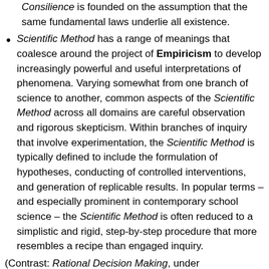Consilience is founded on the assumption that the same fundamental laws underlie all existence.
Scientific Method has a range of meanings that coalesce around the project of Empiricism to develop increasingly powerful and useful interpretations of phenomena. Varying somewhat from one branch of science to another, common aspects of the Scientific Method across all domains are careful observation and rigorous skepticism. Within branches of inquiry that involve experimentation, the Scientific Method is typically defined to include the formulation of hypotheses, conducting of controlled interventions, and generation of replicable results. In popular terms – and especially prominent in contemporary school science – the Scientific Method is often reduced to a simplistic and rigid, step-by-step procedure that more resembles a recipe than engaged inquiry.
(Contrast: Rational Decision Making, under Rationalism.)